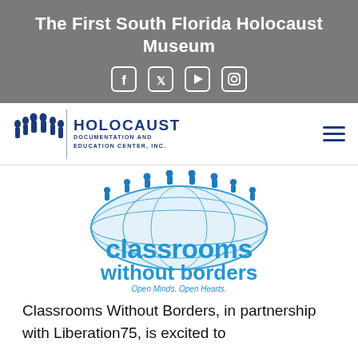The First South Florida Holocaust Museum
[Figure (other): Social media icons: Facebook, Twitter, YouTube, Instagram — white icons in rounded square outlines on gray background]
[Figure (logo): Holocaust Documentation and Education Center, Inc. logo with silhouette figures and organization name]
[Figure (logo): Classrooms Without Borders logo — figures standing on globe, text 'classrooms without borders', tagline 'Open Minds. Open Hearts.']
Classrooms Without Borders, in partnership with Liberation75, is excited to